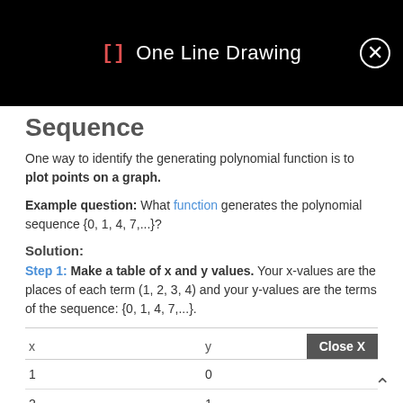[] One Line Drawing
Sequence
One way to identify the generating polynomial function is to plot points on a graph.
Example question: What function generates the polynomial sequence {0, 1, 4, 7,...}?
Solution:
Step 1: Make a table of x and y values. Your x-values are the places of each term (1, 2, 3, 4) and your y-values are the terms of the sequence: {0, 1, 4, 7,...}.
| x | y |
| --- | --- |
| 1 | 0 |
| 2 | 1 |